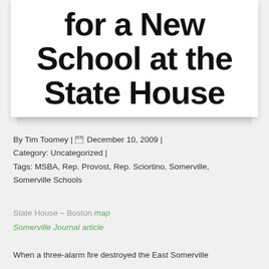for a New School at the State House
By Tim Toomey | 📅 December 10, 2009 | Category: Uncategorized | Tags: MSBA, Rep. Provost, Rep. Sciortino, Somerville, Somerville Schools
State House – Boston map
Somerville Journal article
When a three-alarm fire destroyed the East Somerville